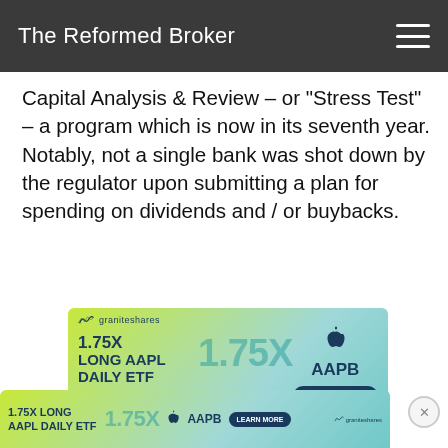The Reformed Broker
Capital Analysis & Review – or "Stress Test" – a program which is now in its seventh year. Notably, not a single bank was shot down by the regulator upon submitting a plan for spending on dividends and / or buybacks.
[Figure (illustration): GraniteShares advertisement banner: 1.75X Long AAPL Daily ETF with ticker AAPB and Learn More button]
[Figure (illustration): GraniteShares advertisement banner (partial, bottom of page): 1.75X Long AAPL Daily ETF with ticker AAPB and Learn More button, with close (X) button]